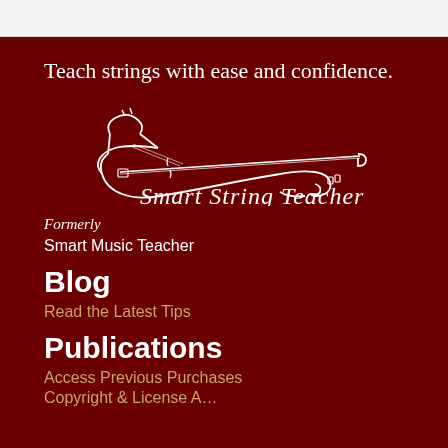Teach strings with ease and confidence.
[Figure (logo): Smart String Teacher logo with a line drawing of a violin and cursive script text reading 'Smart String Teacher']
Formerly
Smart Music Teacher
Blog
Read the Latest Tips
Publications
Access Previous Purchases
Copyright & License Agreement